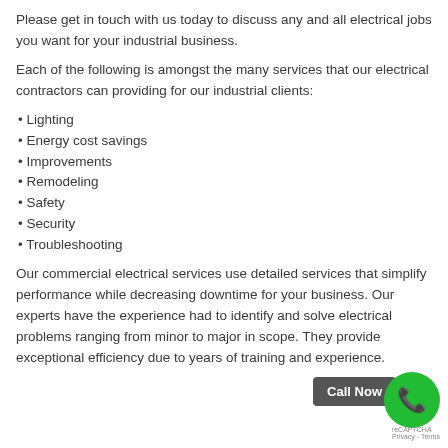Please get in touch with us today to discuss any and all electrical jobs you want for your industrial business.
Each of the following is amongst the many services that our electrical contractors can providing for our industrial clients:
• Lighting
• Energy cost savings
• Improvements
• Remodeling
• Safety
• Security
• Troubleshooting
Our commercial electrical services use detailed services that simplify performance while decreasing downtime for your business. Our experts have the experience had to identify and solve electrical problems ranging from minor to major in scope. They provide exceptional efficiency due to years of training and experience.